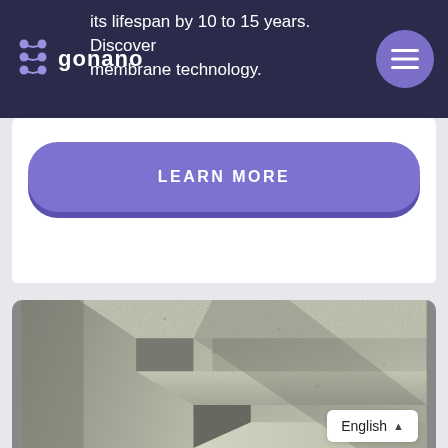gonano — its lifespan by 10 to 15 years. Discover membrane technology.
LEARN MORE
[Figure (photo): Close-up photograph of concrete stairs with rough texture, showing angular steps from a low angle with shadow patterns cast across the surface.]
English ▲